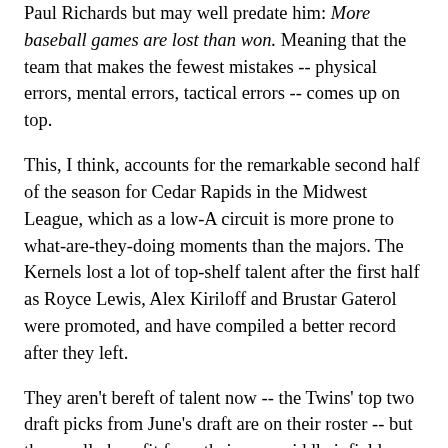Paul Richards but may well predate him: More baseball games are lost than won. Meaning that the team that makes the fewest mistakes -- physical errors, mental errors, tactical errors -- comes up on top.
This, I think, accounts for the remarkable second half of the season for Cedar Rapids in the Midwest League, which as a low-A circuit is more prone to what-are-they-doing moments than the majors. The Kernels lost a lot of top-shelf talent after the first half as Royce Lewis, Alex Kiriloff and Brustar Gaterol were promoted, and have compiled a better record after they left.
They aren't bereft of talent now -- the Twins' top two draft picks from June's draft are on their roster -- but they really benefit from their new middle infield, a pair of June draftees who played for major programs. Shortstop Michael Davis and second baseman Michael Helman aren't as highly regarded as predecessors Lewis and Jose Miranda, but they are older, more mature and more reliable. In the two games I watched last week in Cedar Rapids, Davis and Helman turned four double plays and didn't miss a makable play. The